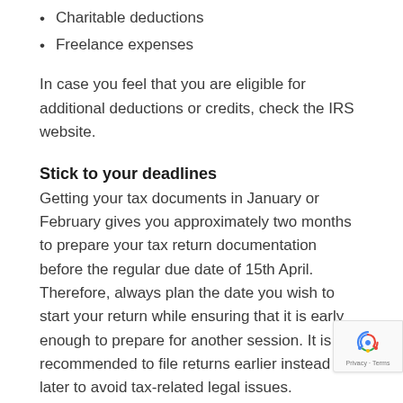Charitable deductions
Freelance expenses
In case you feel that you are eligible for additional deductions or credits, check the IRS website.
Stick to your deadlines
Getting your tax documents in January or February gives you approximately two months to prepare your tax return documentation before the regular due date of 15th April. Therefore, always plan the date you wish to start your return while ensuring that it is early enough to prepare for another session. It is recommended to file returns earlier instead of later to avoid tax-related legal issues.
Determine how to file your tax return